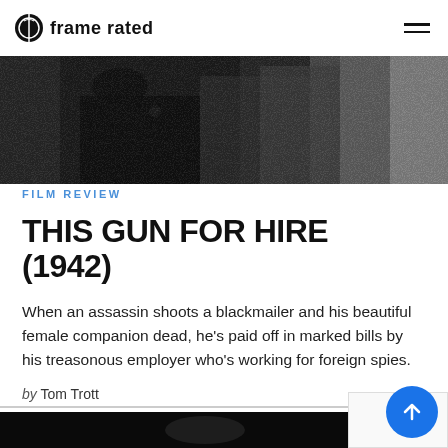frame rated
[Figure (photo): Black and white film still showing figures in dark clothing, partially visible from torso down]
FILM REVIEW
THIS GUN FOR HIRE (1942)
When an assassin shoots a blackmailer and his beautiful female companion dead, he's paid off in marked bills by his treasonous employer who's working for foreign spies.
by Tom Trott
[Figure (photo): Black and white film still at bottom of page, dark scene]